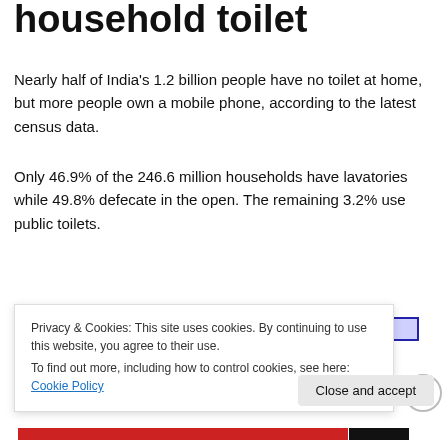household toilet
Nearly half of India's 1.2 billion people have no toilet at home, but more people own a mobile phone, according to the latest census data.
Only 46.9% of the 246.6 million households have lavatories while 49.8% defecate in the open. The remaining 3.2% use public toilets.
[Figure (bar-chart): Partially visible bar chart showing percentage of households having no latrine in India, 2001-2011, obscured by cookie consent banner.]
Privacy & Cookies: This site uses cookies. By continuing to use this website, you agree to their use.
To find out more, including how to control cookies, see here: Cookie Policy
Close and accept